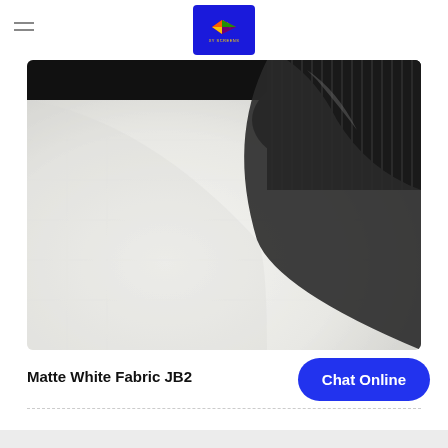XY Screens logo header
[Figure (photo): Close-up photo of a white matte fabric material with a black rolled tube/roller visible in the upper right corner]
Matte White Fabric JB2
Chat Online